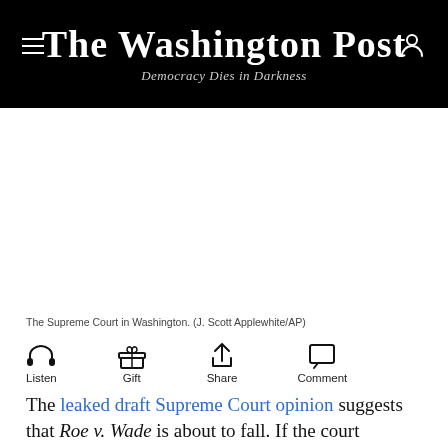The Washington Post — Democracy Dies in Darkness
[Figure (photo): Photograph of the Supreme Court building in Washington, D.C. (blank/white area as image placeholder)]
The Supreme Court in Washington. (J. Scott Applewhite/AP)
Listen  Gift  Share  Comment
The leaked draft Supreme Court opinion suggests that Roe v. Wade is about to fall. If the court overturns Roe,